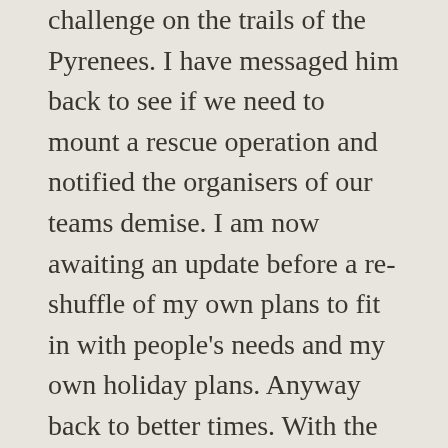challenge on the trails of the Pyrenees. I have messaged him back to see if we need to mount a rescue operation and notified the organisers of our teams demise. I am now awaiting an update before a re-shuffle of my own plans to fit in with people's needs and my own holiday plans. Anyway back to better times. With the bikes loaded we said our farewells to new friends and had one last team photo. We rode into town looking for a café to get breakfast. I was going to stay to watch the bike parade